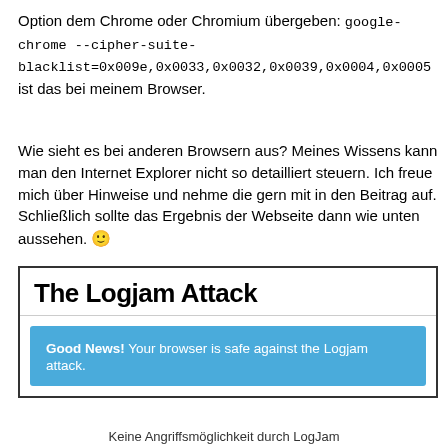Option dem Chrome oder Chromium übergeben: google-chrome --cipher-suite-blacklist=0x009e,0x0033,0x0032,0x0039,0x0004,0x0005 ist das bei meinem Browser.
Wie sieht es bei anderen Browsern aus? Meines Wissens kann man den Internet Explorer nicht so detailliert steuern. Ich freue mich über Hinweise und nehme die gern mit in den Beitrag auf. Schließlich sollte das Ergebnis der Webseite dann wie unten aussehen. 🙂
[Figure (screenshot): Screenshot of the Logjam Attack website showing the heading 'The Logjam Attack' and a blue banner reading 'Good News! Your browser is safe against the Logjam attack.']
Keine Angriffsmöglichkeit durch LogJam